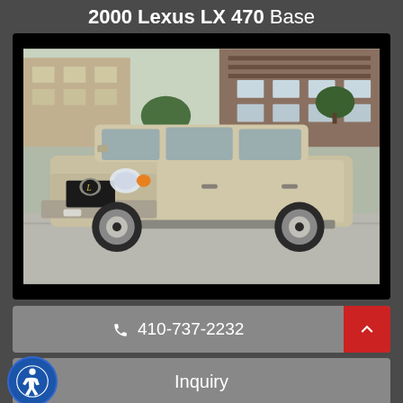2000 Lexus LX 470 Base
[Figure (photo): Gold/champagne 2000 Lexus LX 470 SUV parked in front of a building with trees in background]
📞 410-737-2232
Inquiry